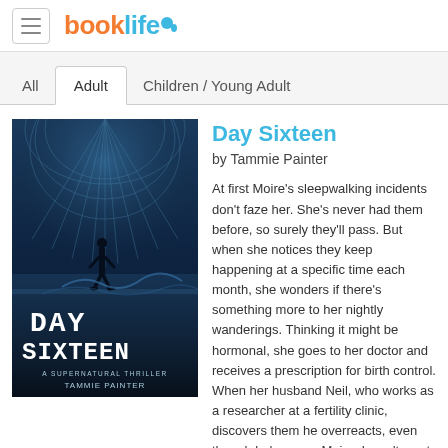booklife
All
Adult
Children / Young Adult
[Figure (illustration): Book cover of 'Day Sixteen' by Tammie Painter, a supernatural thriller. Shows a dark sci-fi scene with a silhouetted figure standing in a futuristic domed structure with blue tones. Text reads DAY SIXTEEN, A SUPERNATURAL THRILLER, TAMMIE PAINTER.]
Day Sixteen
by Tammie Painter
At first Moire's sleepwalking incidents don't faze her. She's never had them before, so surely they'll pass. But when she notices they keep happening at a specific time each month, she wonders if there's something more to her nightly wanderings. Thinking it might be hormonal, she goes to her doctor and receives a prescription for birth control. When her husband Neil, who works as a researcher at a fertility clinic, discovers them he overreacts, even though he's aware Moire doesn't want childr... more